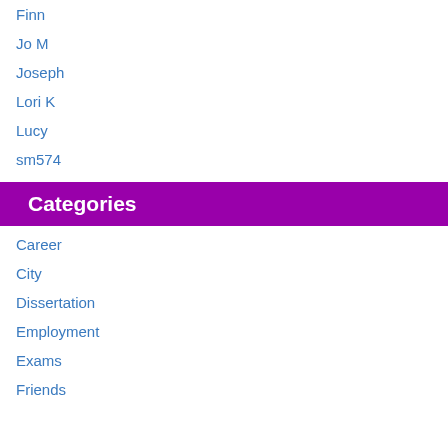Finn
Jo M
Joseph
Lori K
Lucy
sm574
Categories
Career
City
Dissertation
Employment
Exams
Friends